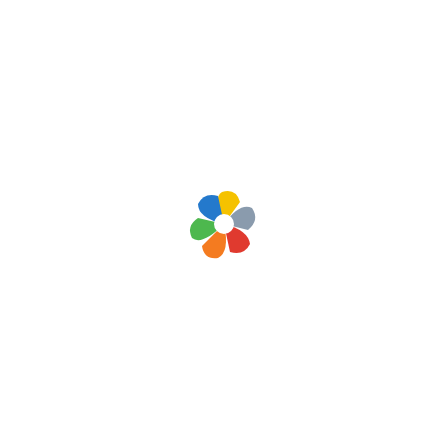[Figure (logo): Colorful pinwheel/aperture logo with six segments: yellow, gray, red, orange, green, and blue arranged in a circular pattern]